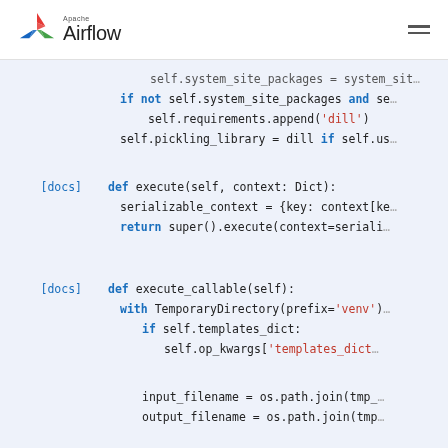Apache Airflow
[Figure (screenshot): Python source code from Apache Airflow documentation showing methods execute and execute_callable with syntax highlighting. Code includes keywords: if, not, and, return, with, def in blue; string literals 'dill', 'venv', 'templates_dict' in red.]